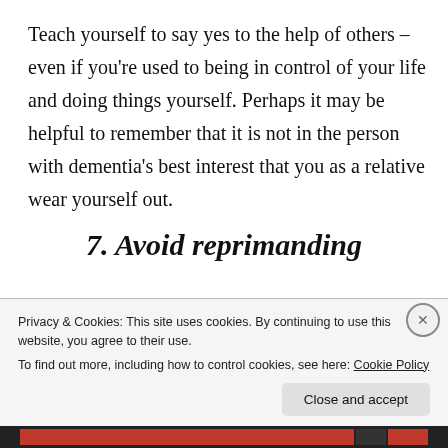Teach yourself to say yes to the help of others – even if you're used to being in control of your life and doing things yourself. Perhaps it may be helpful to remember that it is not in the person with dementia's best interest that you as a relative wear yourself out.
7. Avoid reprimanding
Reprimands and criticisms often create conflicts and